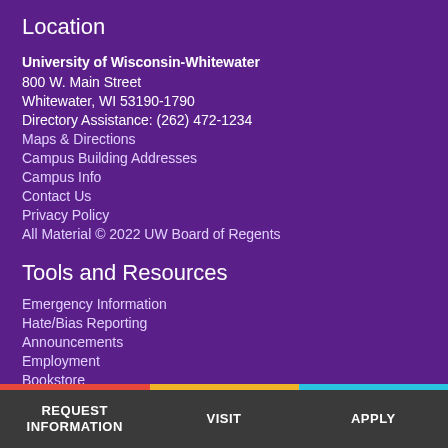Location
University of Wisconsin-Whitewater
800 W. Main Street
Whitewater, WI 53190-1790
Directory Assistance: (262) 472-1234
Maps & Directions
Campus Building Addresses
Campus Info
Contact Us
Privacy Policy
All Material © 2022 UW Board of Regents
Tools and Resources
Emergency Information
Hate/Bias Reporting
Announcements
Employment
Bookstore
Higher Education Emergency Relief Fund Reporting
Accessibility
REQUEST INFORMATION   VISIT   APPLY